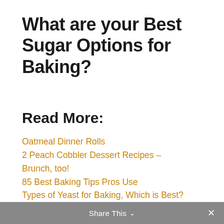What are your Best Sugar Options for Baking?
Read More:
Oatmeal Dinner Rolls
2 Peach Cobbler Dessert Recipes – Brunch, too!
85 Best Baking Tips Pros Use
Types of Yeast for Baking, Which is Best?
Share This ∨  ✕